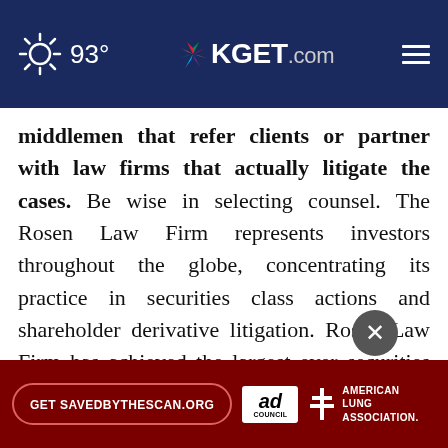93° KGET.com
middlemen that refer clients or partner with law firms that actually litigate the cases. Be wise in selecting counsel. The Rosen Law Firm represents investors throughout the globe, concentrating its practice in securities class actions and shareholder derivative litigation. Rosen Law Firm has achieved the largest ever securities class action settlement against a Chinese Company. Rosen Law Firm was Ranked No. 1 by ISS Securities Class Action Services for numb...nts in
[Figure (screenshot): Ad banner for savedbythescan.org with American Lung Association and Ad Council logos on dark red background]